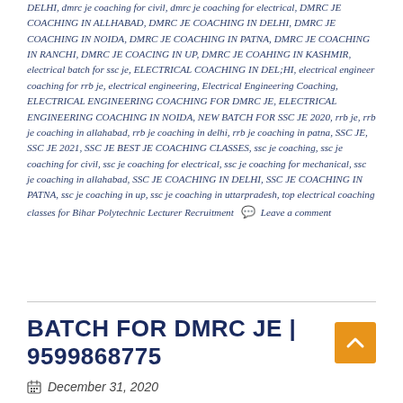DELHI, dmrc je coaching for civil, dmrc je coaching for electrical, DMRC JE COACHING IN ALLHABAD, DMRC JE COACHING IN DELHI, DMRC JE COACHING IN NOIDA, DMRC JE COACHING IN PATNA, DMRC JE COACHING IN RANCHI, DMRC JE COACING IN UP, DMRC JE COAHING IN KASHMIR, electrical batch for ssc je, ELECTRICAL COACHING IN DEL;HI, electrical engineer coaching for rrb je, electrical engineering, Electrical Engineering Coaching, ELECTRICAL ENGINEERING COACHING FOR DMRC JE, ELECTRICAL ENGINEERING COACHING IN NOIDA, NEW BATCH FOR SSC JE 2020, rrb je, rrb je coaching in allahabad, rrb je coaching in delhi, rrb je coaching in patna, SSC JE, SSC JE 2021, SSC JE BEST JE COACHING CLASSES, ssc je coaching, ssc je coaching for civil, ssc je coaching for electrical, ssc je coaching for mechanical, ssc je coaching in allahabad, SSC JE COACHING IN DELHI, SSC JE COACHING IN PATNA, ssc je coaching in up, ssc je coaching in uttarpradesh, top electrical coaching classes for Bihar Polytechnic Lecturer Recruitment 💬 Leave a comment
BATCH FOR DMRC JE | 9599868775
December 31, 2020